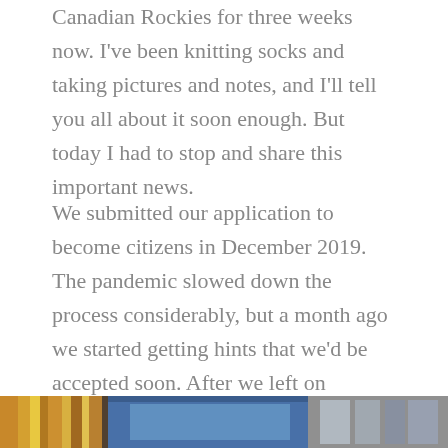Canadian Rockies for three weeks now. I've been knitting socks and taking pictures and notes, and I'll tell you all about it soon enough. But today I had to stop and share this important news.
We submitted our application to become citizens in December 2019. The pandemic slowed down the process considerably, but a month ago we started getting hints that we'd be accepted soon. After we left on vacation, we got a date for our official ceremony: today.
[Figure (photo): Bottom strip showing partial photo, appears to be colorful books or objects with a blue screen/monitor visible]